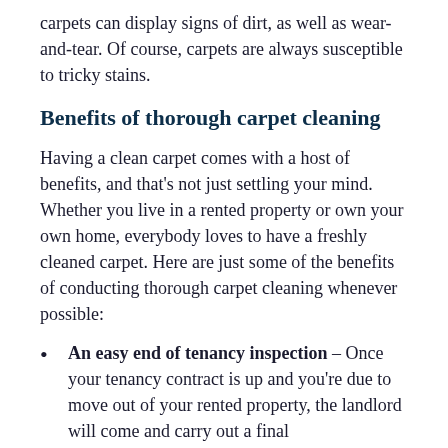carpets can display signs of dirt, as well as wear-and-tear. Of course, carpets are always susceptible to tricky stains.
Benefits of thorough carpet cleaning
Having a clean carpet comes with a host of benefits, and that's not just settling your mind. Whether you live in a rented property or own your own home, everybody loves to have a freshly cleaned carpet. Here are just some of the benefits of conducting thorough carpet cleaning whenever possible:
An easy end of tenancy inspection – Once your tenancy contract is up and you're due to move out of your rented property, the landlord will come and carry out a final